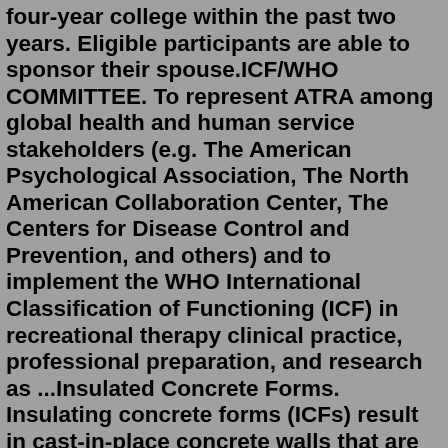four-year college within the past two years. Eligible participants are able to sponsor their spouse.ICF/WHO COMMITTEE. To represent ATRA among global health and human service stakeholders (e.g. The American Psychological Association, The North American Collaboration Center, The Centers for Disease Control and Prevention, and others) and to implement the WHO International Classification of Functioning (ICF) in recreational therapy clinical practice, professional preparation, and research as ...Insulated Concrete Forms. Insulating concrete forms (ICFs) result in cast-in-place concrete walls that are sandwiched between two layers of insulation material. These systems are strong and energy efficient. ... By the mid-1990s, the Insulating Concrete Form Association (ICFA) was founded to do research and promotion of the products, working ...On December 22, 2021 / BuildBlock News, Habitat For Humanity, Video. In November 2021, BuildBlock traveled to Santa Fe, New Mexico to assist on two ICF builds in partnership with the ICFMA, NRMCA, and